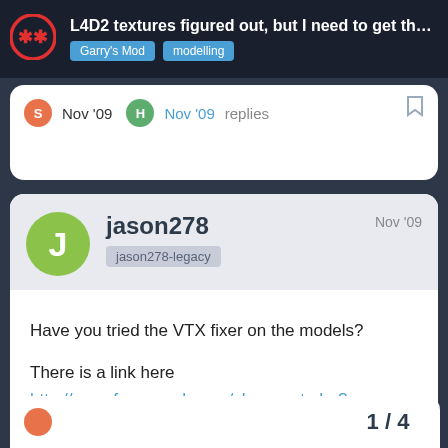L4D2 textures figured out, but I need to get th... Garry's Mod modelling
S Nov '09  H Nov '09  replies
jason278
jason278-legacy
Nov '09
Have you tried the VTX fixer on the models?

There is a link here
http://www.facepunch.com/showpost.php?p=16549189&postcount=1
1 / 4